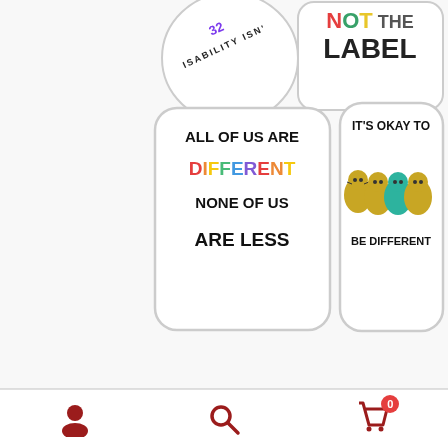[Figure (photo): Product image showing four disability awareness stickers: a circular sticker, a sticker reading NOT THE LABEL, a sticker reading ALL OF US ARE DIFFERENT NONE OF US ARE LESS, and a sticker reading IT'S OKAY TO BE DIFFERENT with cartoon cats]
Disability Awareness sticker pack
★★★★★
$13.50
Add to cart